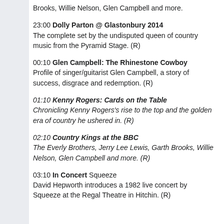Brooks, Willie Nelson, Glen Campbell and more.
23:00 Dolly Parton @ Glastonbury 2014 — The complete set by the undisputed queen of country music from the Pyramid Stage. (R)
00:10 Glen Campbell: The Rhinestone Cowboy — Profile of singer/guitarist Glen Campbell, a story of success, disgrace and redemption. (R)
01:10 Kenny Rogers: Cards on the Table — Chronicling Kenny Rogers's rise to the top and the golden era of country he ushered in. (R)
02:10 Country Kings at the BBC — The Everly Brothers, Jerry Lee Lewis, Garth Brooks, Willie Nelson, Glen Campbell and more. (R)
03:10 In Concert Squeeze — David Hepworth introduces a 1982 live concert by Squeeze at the Regal Theatre in Hitchin. (R)